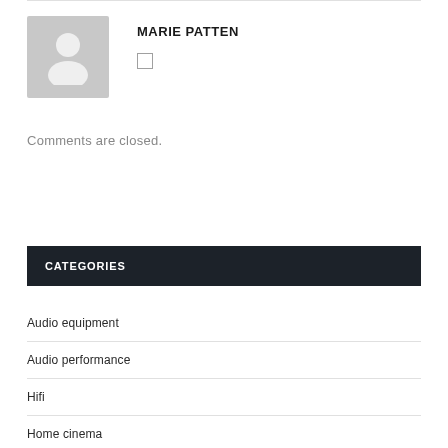[Figure (illustration): Grey avatar placeholder image showing a silhouette of a person (head and shoulders) with name 'MARIE PATTEN' and a small icon below]
MARIE PATTEN
Comments are closed.
CATEGORIES
Audio equipment
Audio performance
Hifi
Home cinema